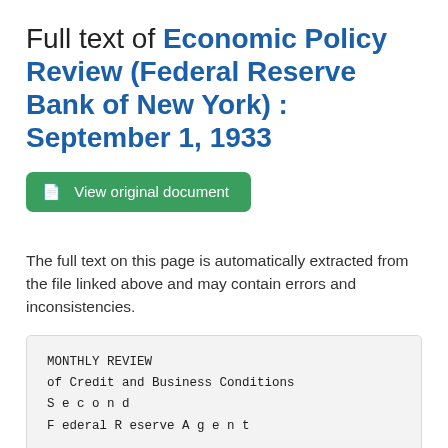Full text of Economic Policy Review (Federal Reserve Bank of New York) : September 1, 1933
View original document
The full text on this page is automatically extracted from the file linked above and may contain errors and inconsistencies.
MONTHLY REVIEW
of Credit and Business Conditions
S e c o n d
F ederal R eserve A g e n t

F e d e r a l